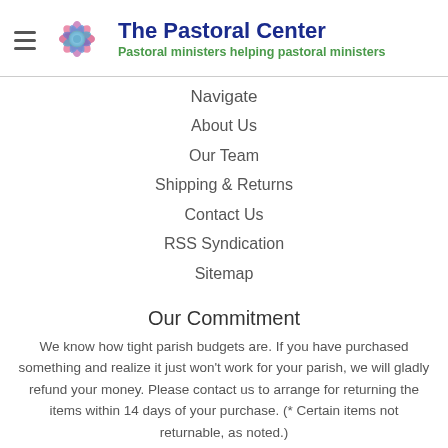The Pastoral Center — Pastoral ministers helping pastoral ministers
Navigate
About Us
Our Team
Shipping & Returns
Contact Us
RSS Syndication
Sitemap
Our Commitment
We know how tight parish budgets are. If you have purchased something and realize it just won't work for your parish, we will gladly refund your money. Please contact us to arrange for returning the items within 14 days of your purchase. (* Certain items not returnable, as noted.)
Email List